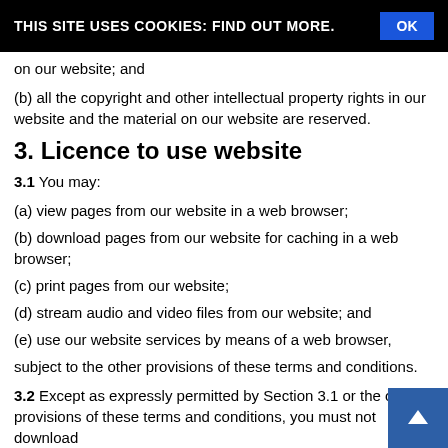THIS SITE USES COOKIES: FIND OUT MORE.   OK
on our website; and
(b) all the copyright and other intellectual property rights in our website and the material on our website are reserved.
3. Licence to use website
3.1 You may:
(a) view pages from our website in a web browser;
(b) download pages from our website for caching in a web browser;
(c) print pages from our website;
(d) stream audio and video files from our website; and
(e) use our website services by means of a web browser,
subject to the other provisions of these terms and conditions.
3.2 Except as expressly permitted by Section 3.1 or the other provisions of these terms and conditions, you must not download